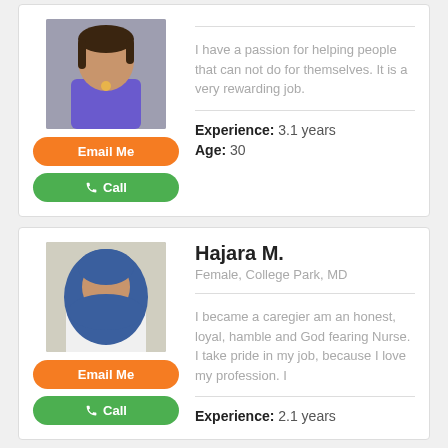[Figure (photo): Profile photo of a woman in a purple top]
Email Me
Call
I have a passion for helping people that can not do for themselves. It is a very rewarding job.
Experience: 3.1 years
Age: 30
Hajara M.
Female, College Park, MD
[Figure (photo): Profile photo of a woman wearing a blue hijab and white top]
Email Me
Call
I became a caregier am an honest, loyal, hamble and God fearing Nurse. I take pride in my job, because I love my profession. I
Experience: 2.1 years